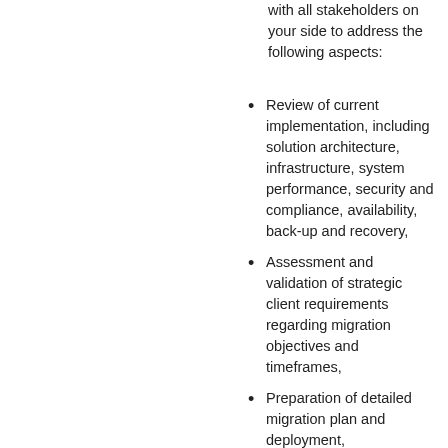with all stakeholders on your side to address the following aspects:
Review of current implementation, including solution architecture, infrastructure, system performance, security and compliance, availability, back-up and recovery,
Assessment and validation of strategic client requirements regarding migration objectives and timeframes,
Preparation of detailed migration plan and deployment,
Setup of Azure